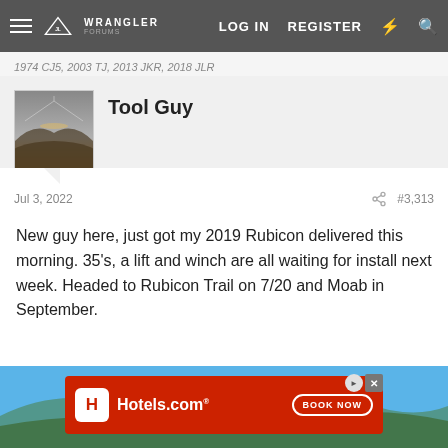Wrangler Forums — LOG IN   REGISTER
1974 CJ5, 2003 TJ, 2013 JKR, 2018 JLR
Tool Guy
Jul 3, 2022   #3,313
New guy here, just got my 2019 Rubicon delivered this morning. 35's, a lift and winch are all waiting for install next week. Headed to Rubicon Trail on 7/20 and Moab in September.
[Figure (screenshot): Hotels.com advertisement banner with red background showing Hotels.com logo and BOOK NOW button]